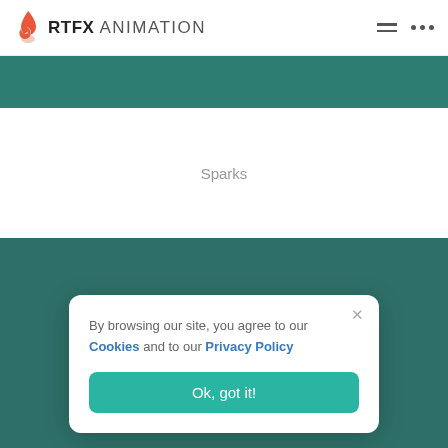RTFX ANIMATION
[Figure (other): Teal/dark green banner strip below header]
Sparks
[Figure (other): Dark teal background section occupying lower half of the page]
By browsing our site, you agree to our Cookies and to our Privacy Policy
Ok, got it!